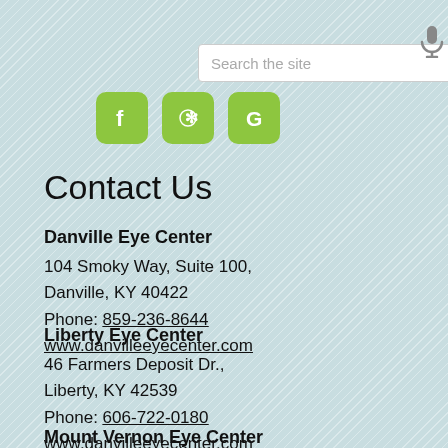[Figure (screenshot): Search bar with placeholder text 'Search the site' and a microphone icon to the right]
[Figure (infographic): Three green social media icon buttons: Facebook (f), Yelp (asterisk/flower), and Google (G)]
Contact Us
Danville Eye Center
104 Smoky Way, Suite 100,
Danville, KY 40422
Phone: 859-236-8644
www.danvilleeyecenter.com
Liberty Eye Center
46 Farmers Deposit Dr.,
Liberty, KY 42539
Phone: 606-722-0180
www.danvilleeyecenter.com
Mount Vernon Eye Center
111 Progress Dr.,